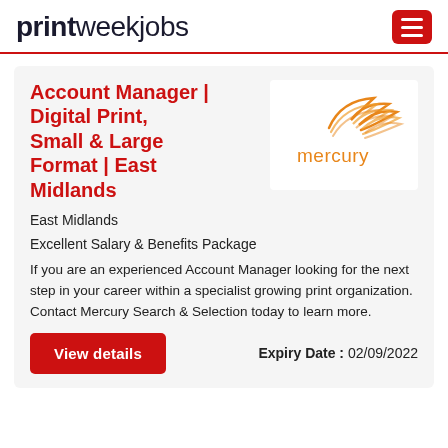printweekjobs
Account Manager | Digital Print, Small & Large Format | East Midlands
[Figure (logo): Mercury Search & Selection company logo — stylized orange wing/flame above the word 'mercury' in orange]
East Midlands
Excellent Salary & Benefits Package
If you are an experienced Account Manager looking for the next step in your career within a specialist growing print organization. Contact Mercury Search & Selection today to learn more.
Expiry Date : 02/09/2022
View details